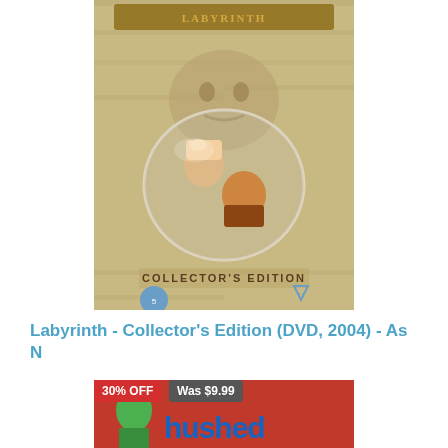[Figure (photo): DVD cover of Labyrinth Collector's Edition showing movie characters in circular bubble frames against a stone wall background]
Labyrinth - Collector's Edition (DVD, 2004) - As N
$8.99
Out Of Stock
[Figure (photo): Partial product image of next item with red background showing 'Hushed' text, with badges showing '30% OFF' and 'Was $9.99']